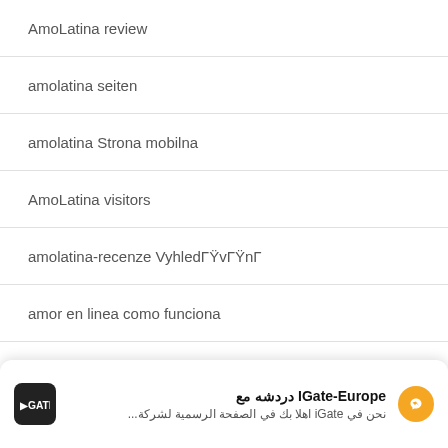AmoLatina review
amolatina seiten
amolatina Strona mobilna
AmoLatina visitors
amolatina-recenze VyhledΓŸvΓŸnΓ
amor en linea como funciona
amor en linea cs review
amor en linea entrar
IGate-Europe دردشه مع
نحن في iGate اهلا بك في الصفحة الرسمية لشركة...